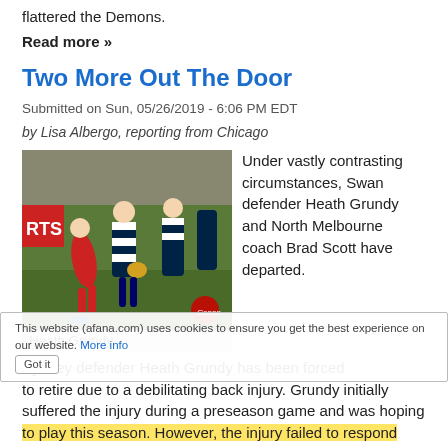flattered the Demons.
Read more »
Two More Out The Door
Submitted on Sun, 05/26/2019 - 6:06 PM EDT
by Lisa Albergo, reporting from Chicago
[Figure (photo): AFL football game action photo showing players in a contest for the ball. Caption: Heath Grundy]
Under vastly contrasting circumstances, Swan defender Heath Grundy and North Melbourne coach Brad Scott have departed.
Sydney defender Heath Grundy has been forced to retire due to a debilitating back injury. Grundy initially suffered the injury during a preseason game and was hoping to play this season. However, the injury failed to respond to treatment and it began to affect his life away from the
This website (afana.com) uses cookies to ensure you get the best experience on our website. More info  Got it